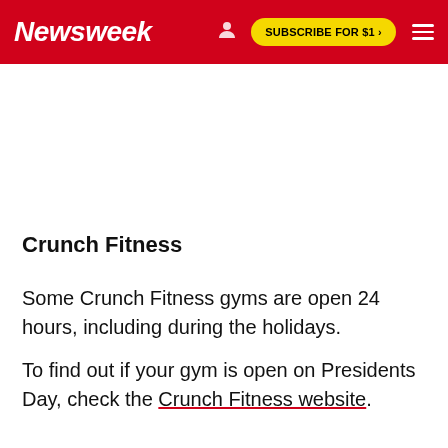Newsweek | SUBSCRIBE FOR $1 >
Crunch Fitness
Some Crunch Fitness gyms are open 24 hours, including during the holidays.
To find out if your gym is open on Presidents Day, check the Crunch Fitness website.